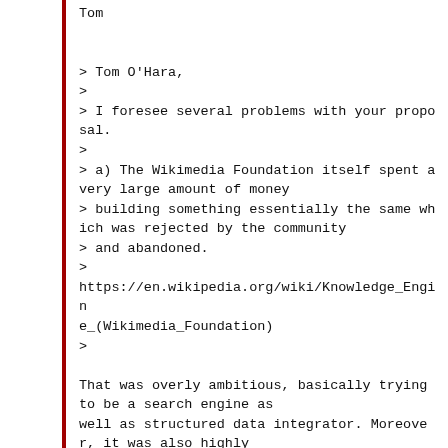Tom
> Tom O'Hara,
>
> I foresee several problems with your proposal.
>
> a) The Wikimedia Foundation itself spent a very large amount of money
> building something essentially the same which was rejected by the community
> and abandoned.
>
https://en.wikipedia.org/wiki/Knowledge_Engine_(Wikimedia_Foundation)
>
That was overly ambitious, basically trying to be a search engine as well as structured data integrator. Moreover, it was also highly controversial due to the lack of transparency